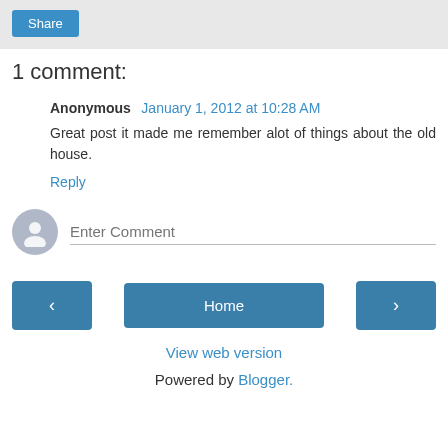[Figure (screenshot): Share button in a grey toolbar]
1 comment:
Anonymous January 1, 2012 at 10:28 AM
Great post it made me remember alot of things about the old house.
Reply
[Figure (other): Avatar icon with Enter Comment input field]
[Figure (other): Navigation bar with previous, Home, and next buttons]
View web version
Powered by Blogger.